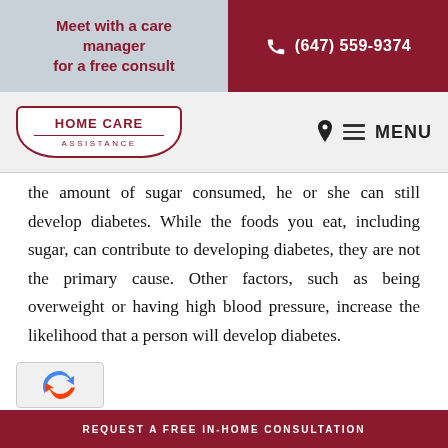Meet with a care manager for a free consult | (647) 559-9374
[Figure (logo): Home Care Assistance logo with burgundy border and text]
the amount of sugar consumed, he or she can still develop diabetes. While the foods you eat, including sugar, can contribute to developing diabetes, they are not the primary cause. Other factors, such as being overweight or having high blood pressure, increase the likelihood that a person will develop diabetes.
REQUEST A FREE IN-HOME CONSULTATION